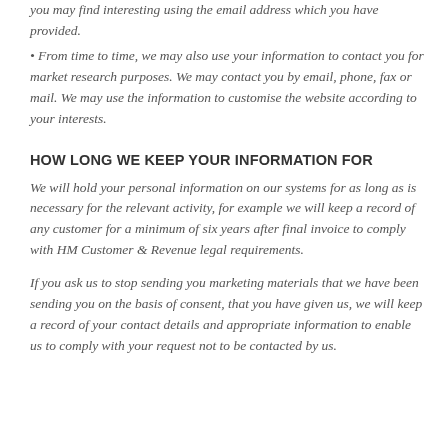you may find interesting using the email address which you have provided.
• From time to time, we may also use your information to contact you for market research purposes. We may contact you by email, phone, fax or mail. We may use the information to customise the website according to your interests.
HOW LONG WE KEEP YOUR INFORMATION FOR
We will hold your personal information on our systems for as long as is necessary for the relevant activity, for example we will keep a record of any customer for a minimum of six years after final invoice to comply with HM Customer & Revenue legal requirements.
If you ask us to stop sending you marketing materials that we have been sending you on the basis of consent, that you have given us, we will keep a record of your contact details and appropriate information to enable us to comply with your request not to be contacted by us.